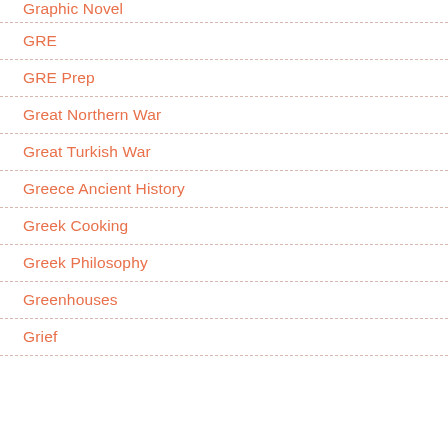Graphic Novel
GRE
GRE Prep
Great Northern War
Great Turkish War
Greece Ancient History
Greek Cooking
Greek Philosophy
Greenhouses
Grief